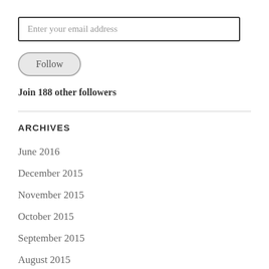Enter your email address
Follow
Join 188 other followers
ARCHIVES
June 2016
December 2015
November 2015
October 2015
September 2015
August 2015